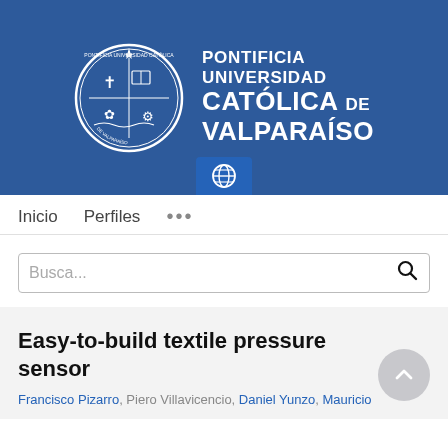[Figure (logo): Pontificia Universidad Católica de Valparaíso logo with circular crest and text]
Inicio   Perfiles   ...
Busca...
Easy-to-build textile pressure sensor
Francisco Pizarro, Piero Villavicencio, Daniel Yunzo, Mauricio ...